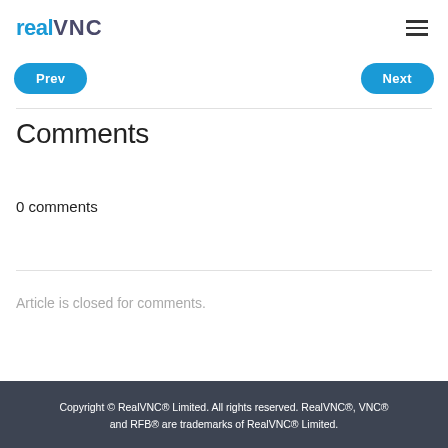RealVNC
Prev  Next
Comments
0 comments
Article is closed for comments.
Copyright © RealVNC® Limited. All rights reserved. RealVNC®, VNC® and RFB® are trademarks of RealVNC® Limited.